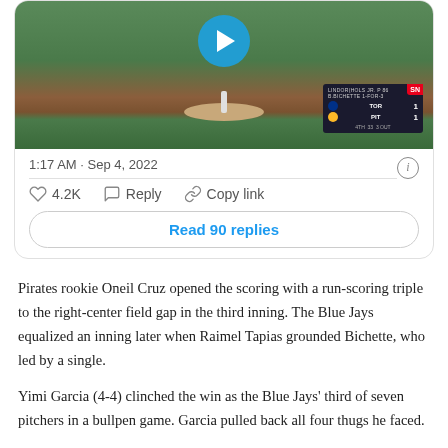[Figure (screenshot): Twitter/X embedded tweet showing a baseball video thumbnail of a pitcher on the mound with a scorebug showing TOR 1, PIT 1 in the 4th inning, 3 out. Timestamp: 1:17 AM · Sep 4, 2022. Likes: 4.2K, Reply, Copy link actions, and a 'Read 90 replies' button.]
Pirates rookie Oneil Cruz opened the scoring with a run-scoring triple to the right-center field gap in the third inning. The Blue Jays equalized an inning later when Raimel Tapias grounded Bichette, who led by a single.
Yimi Garcia (4-4) clinched the win as the Blue Jays' third of seven pitchers in a bullpen game. Garcia pulled back all four thugs he faced.
Jordan Romano made a perfect ninth place with his 29th save.